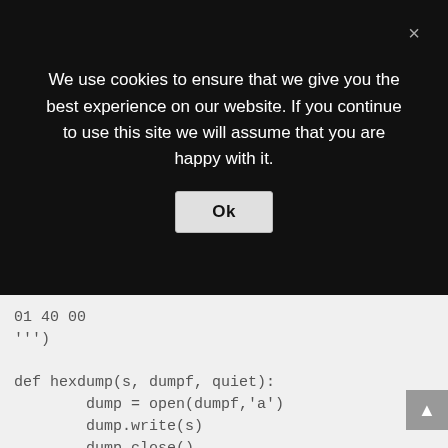We use cookies to ensure that we give you the best experience on our website. If you continue to use this site we will assume that you are happy with it.
Ok
01 40 00
''')

def hexdump(s, dumpf, quiet):
        dump = open(dumpf,'a')
        dump.write(s)
        dump.close()
        if quiet: return
        for b in xrange(0, len(s), 16):
                lin = [c for c in s[b : b
                hxdat = ' '.join('%02X' %
                pdat = ''.join((c if 32 <
                print '  %04x: %-48s %s'